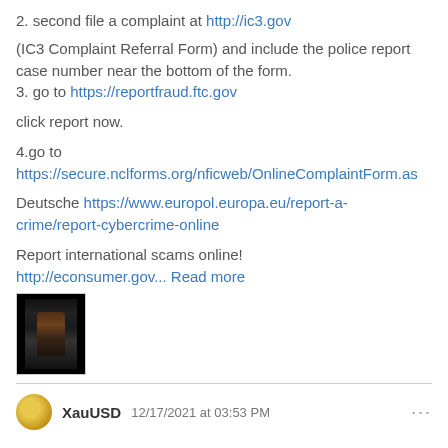2. second file a complaint at http://ic3.gov
(IC3 Complaint Referral Form) and include the police report case number near the bottom of the form.
3. go to https://reportfraud.ftc.gov
click report now.
4.go to https://secure.nclforms.org/nficweb/OnlineComplaintForm.as
Deutsche https://www.europol.europa.eu/report-a-crime/report-cybercrime-online
Report international scams online!
http://econsumer.gov... Read more
[Figure (photo): Small thumbnail image showing a dark photo with a figure]
XauUSD  12/17/2021 at 03:53 PM